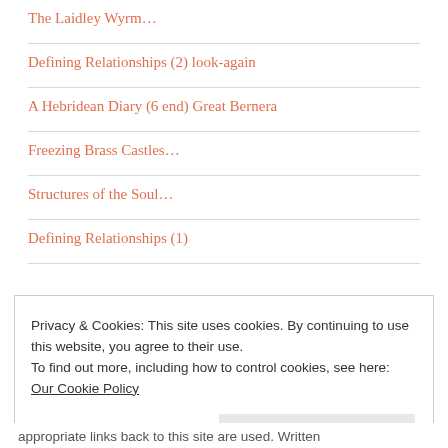The Laidley Wyrm...
Defining Relationships (2) look-again
A Hebridean Diary (6 end) Great Bernera
Freezing Brass Castles...
Structures of the Soul...
Defining Relationships (1)
Privacy & Cookies: This site uses cookies. By continuing to use this website, you agree to their use.
To find out more, including how to control cookies, see here: Our Cookie Policy
Close and accept
appropriate links back to this site are used. Written